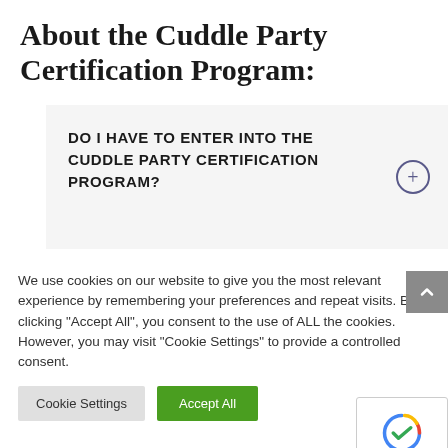About the Cuddle Party Certification Program:
DO I HAVE TO ENTER INTO THE CUDDLE PARTY CERTIFICATION PROGRAM?
We use cookies on our website to give you the most relevant experience by remembering your preferences and repeat visits. By clicking "Accept All", you consent to the use of ALL the cookies. However, you may visit "Cookie Settings" to provide a controlled consent.
Cookie Settings | Accept All